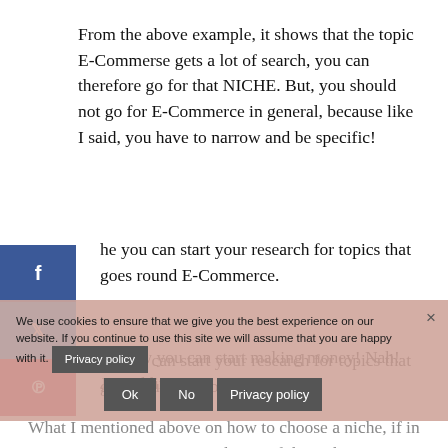From the above example, it shows that the topic E-Commerse gets a lot of search, you can therefore go for that NICHE. But, you should not go for E-Commerce in general, because like I said, you have to narrow and be specific!
he you can start your research for topics that goes round E-Commerce.
nd now you can start making money! Nah! Just idding!
We use cookies to ensure that we give you the best experience on our website. If you continue to use this site we will assume that you are happy with it.
What I mentioned above on how to choose a niche, if in case ni s ey is just the tip of the iceberg. I know it looks easy but here's